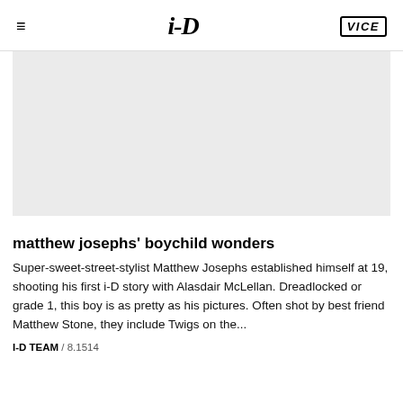i-D | VICE
[Figure (photo): Light grey image placeholder rectangle]
matthew josephs' boychild wonders
Super-sweet-street-stylist Matthew Josephs established himself at 19, shooting his first i-D story with Alasdair McLellan. Dreadlocked or grade 1, this boy is as pretty as his pictures. Often shot by best friend Matthew Stone, they include Twigs on the...
I-D TEAM / 8.1514